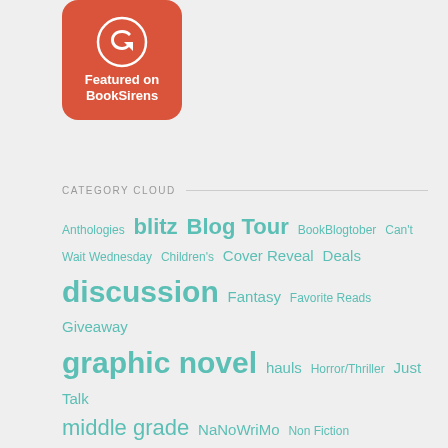[Figure (logo): Featured on BookSirens badge — red rounded square with arrow/book icon and white text 'Featured on BookSirens']
CATEGORY CLOUD
Anthologies blitz Blog Tour BookBlogtober Can't Wait Wednesday Children's Cover Reveal Deals discussion Fantasy Favorite Reads Giveaway graphic novel hauls Horror/Thriller Just Talk middle grade NaNoWriMo Non Fiction Paranormal Poetry Recommendations Reviews Romance Sci fi Short Stories TBRs Wrap Ups writing Young Adult